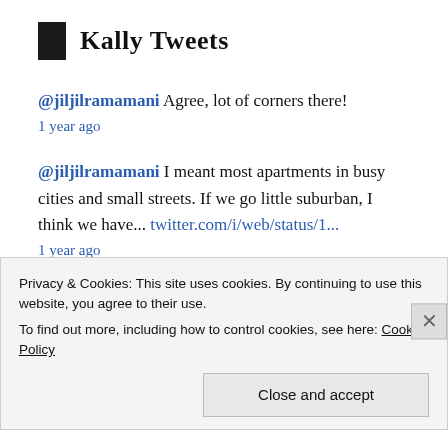Kally Tweets
@jiljilramamani Agree, lot of corners there!
1 year ago
@jiljilramamani I meant most apartments in busy cities and small streets. If we go little suburban, I think we have... twitter.com/i/web/status/1...
1 year ago
@jiljilramamani Most of the ants are kinda like this.
Privacy & Cookies: This site uses cookies. By continuing to use this website, you agree to their use.
To find out more, including how to control cookies, see here: Cookie Policy
Close and accept